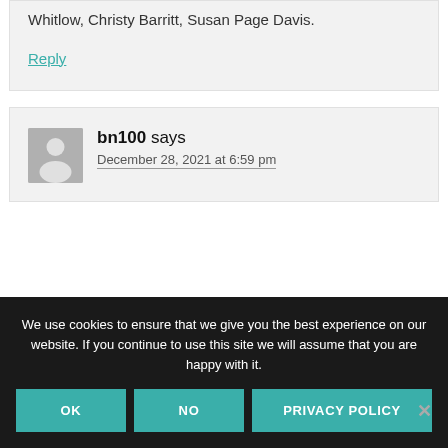Whitlow, Christy Barritt, Susan Page Davis.
Reply
bn100 says
December 28, 2021 at 6:59 pm
We use cookies to ensure that we give you the best experience on our website. If you continue to use this site we will assume that you are happy with it.
OK
NO
PRIVACY POLICY